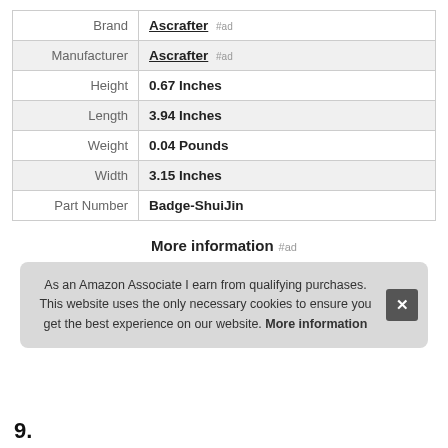|  |  |
| --- | --- |
| Brand | Ascrafter #ad |
| Manufacturer | Ascrafter #ad |
| Height | 0.67 Inches |
| Length | 3.94 Inches |
| Weight | 0.04 Pounds |
| Width | 3.15 Inches |
| Part Number | Badge-ShuiJin |
More information #ad
As an Amazon Associate I earn from qualifying purchases. This website uses the only necessary cookies to ensure you get the best experience on our website. More information
9.